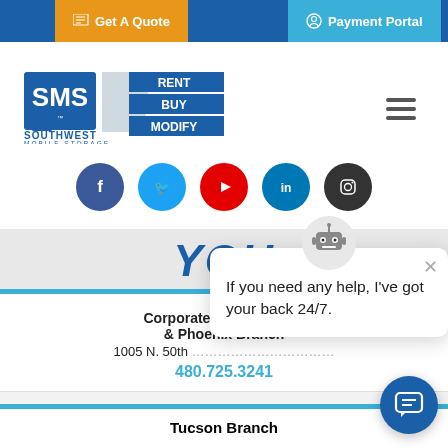Get A Quote | Payment Portal
[Figure (logo): Southwest Mobile Storage logo with SMS and RENT BUY MODIFY text]
[Figure (infographic): Social media icons row: Facebook, Twitter, YouTube, LinkedIn, Instagram]
YOU
Corporate Headquarters & Phoenix Branch
1005 N. 50th St., Phoenix, AZ 85008
480.725.3241
[Figure (infographic): Chatbot popup: If you need any help, I've got your back 24/7.]
Tucson Branch